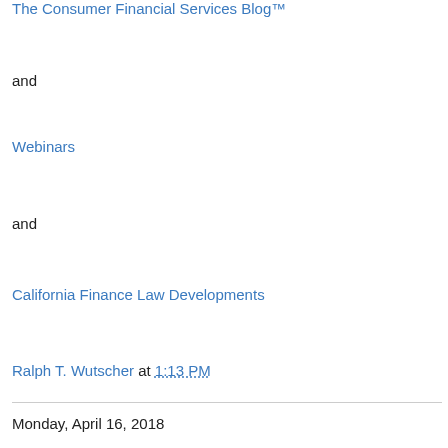The Consumer Financial Services Blog™
and
Webinars
and
California Finance Law Developments
Ralph T. Wutscher at 1:13 PM
Monday, April 16, 2018